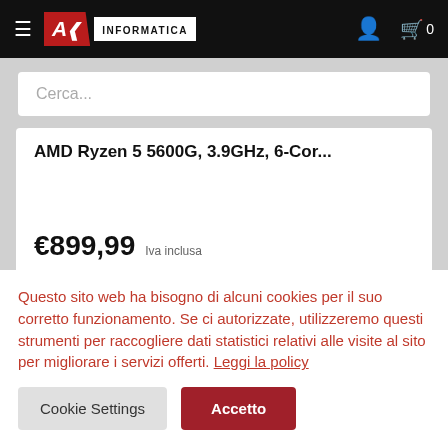AK INFORMATICA
Cerca...
AMD Ryzen 5 5600G, 3.9GHz, 6-Cor...
€899,99 Iva inclusa
Questo sito web ha bisogno di alcuni cookies per il suo corretto funzionamento. Se ci autorizzate, utilizzeremo questi strumenti per raccogliere dati statistici relativi alle visite al sito per migliorare i servizi offerti. Leggi la policy
Cookie Settings
Accetto